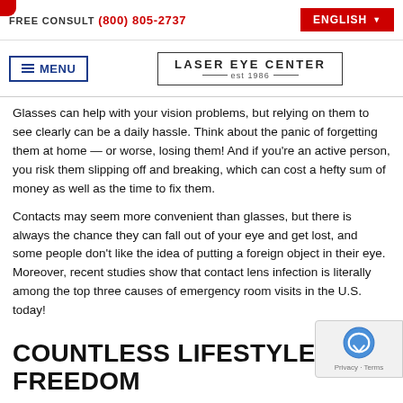FREE CONSULT (800) 805-2737  ENGLISH
[Figure (logo): Laser Eye Center est 1986 logo with border]
Glasses can help with your vision problems, but relying on them to see clearly can be a daily hassle. Think about the panic of forgetting them at home — or worse, losing them! And if you're an active person, you risk them slipping off and breaking, which can cost a hefty sum of money as well as the time to fix them.
Contacts may seem more convenient than glasses, but there is always the chance they can fall out of your eye and get lost, and some people don't like the idea of putting a foreign object in their eye. Moreover, recent studies show that contact lens infection is literally among the top three causes of emergency room visits in the U.S. today!
COUNTLESS LIFESTYLE FREEDOM